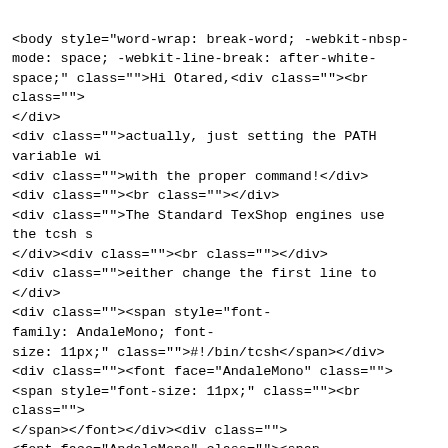<html><head><meta http-equiv="Content-Type" content="text/html charset=utf-8"></head>
<body style="word-wrap: break-word; -webkit-nbsp-mode: space; -webkit-line-break: after-white-space;" class="">Hi Otared,<div class=""><br class="">
</div>
<div class="">actually, just setting the PATH variable wi
<div class="">with the proper command!</div>
<div class=""><br class=""></div>
<div class="">The Standard TexShop engines use the tcsh s
</div><div class=""><br class=""></div>
<div class="">either change the first line to </div>
<div class=""><span style="font-family: AndaleMono; font-size: 11px;" class="">#!/bin/tcsh</span></div>
<div class=""><font face="AndaleMono" class="">
<span style="font-size: 11px;" class=""><br class="">
</span></font></div><div class="">
<font face="AndaleMono" class=""><span style="font-size: 11px;" class="">or set the path bash style</span>
</font></div><div class="">
<font face="AndaleMono" class=""><span style="font-size: 11px;" class="">export PATH=</span>
</font>/Volumes/OK/context-minimal/tex/texmf-osx-64/bin:$PATH</div><div class=""><br class=""></div>
<div class="">I put the standard PATH behind the minimals
</div><div class=""><br class=""></div>
<div class="">regards</div><div class="">
<span class="Apple-tab-span" style="white-space:pre">  </span>Keith</div><div class="">